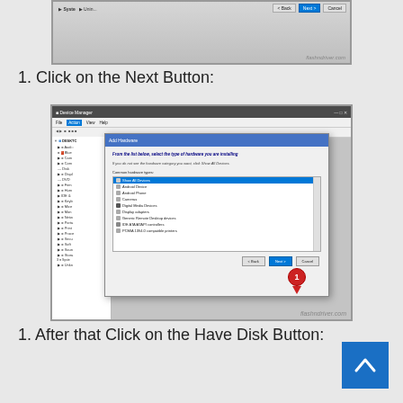[Figure (screenshot): Partial screenshot of a Windows dialog with Back, Next, Cancel buttons and flashndriver.com watermark]
1. Click on the Next Button:
[Figure (screenshot): Screenshot of Windows Device Manager with Add Hardware dialog open, showing a list of hardware types with 'Show All Devices' selected and a red pin marker pointing to the Next button. Watermark: flashndriver.com]
1. After that Click on the Have Disk Button: